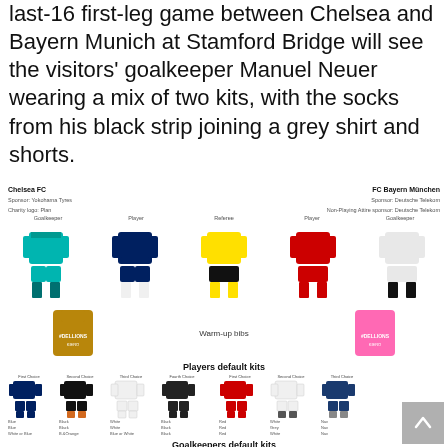last-16 first-leg game between Chelsea and Bayern Munich at Stamford Bridge will see the visitors' goalkeeper Manuel Neuer wearing a mix of two kits, with the socks from his black strip joining a grey shirt and shorts.
[Figure (illustration): Football kit illustration showing Chelsea FC and FC Bayern München kits including Goalkeeper, Player, and Referee kits, warm-up bibs, players default kits, and goalkeepers default kits]
Players default kits
Goalkeepers default kits